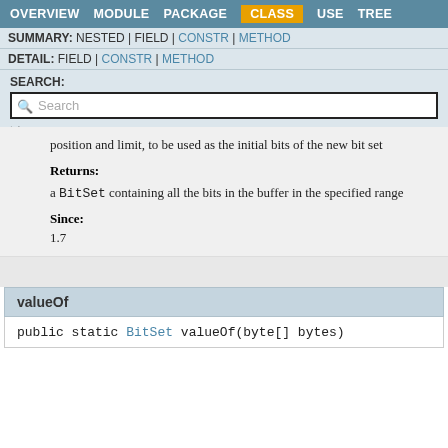OVERVIEW  MODULE  PACKAGE  CLASS  USE  TREE
SUMMARY: NESTED | FIELD | CONSTR | METHOD
DETAIL: FIELD | CONSTR | METHOD
SEARCH:
position and limit, to be used as the initial bits of the new bit set
Returns:
a BitSet containing all the bits in the buffer in the specified range
Since:
1.7
valueOf
public static BitSet valueOf(byte[] bytes)